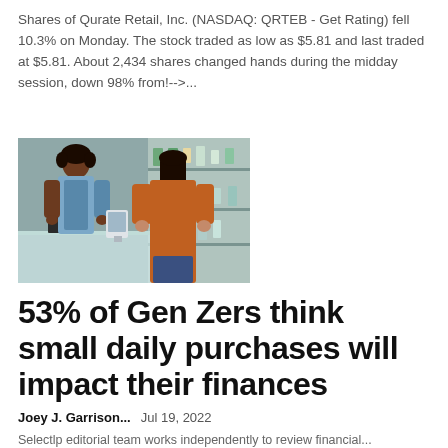Shares of Qurate Retail, Inc. (NASDAQ: QRTEB - Get Rating) fell 10.3% on Monday. The stock traded as low as $5.81 and last traded at $5.81. About 2,434 shares changed hands during the midday session, down 98% from!-->...
[Figure (photo): Photo of two women at a retail store counter — one appears to be a store employee and one a customer, with shelves of products visible in the background.]
53% of Gen Zers think small daily purchases will impact their finances
Joey J. Garrison...    Jul 19, 2022
Selectlp editorial team works independently to review financial...